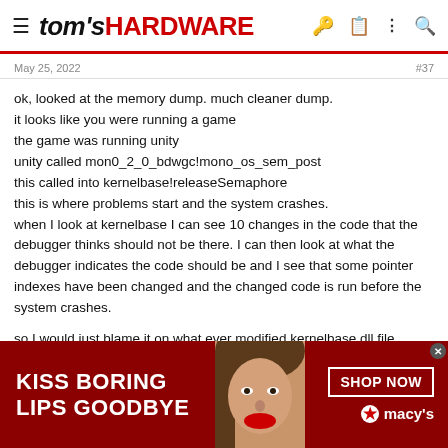tom's HARDWARE
May 25, 2022  #37
ok, looked at the memory dump. much cleaner dump.
it looks like you were running a game
the game was running unity
unity called mon0_2_0_bdwgc!mono_os_sem_post
this called into kernelbase!releaseSemaphore
this is where problems start and the system crashes.
when I look at kernelbase I can see 10 changes in the code that the debugger thinks should not be there. I can then look at what the debugger indicates the code should be and I see that some pointer indexes have been changed and the changed code is run before the system crashes.

so I would just blame it on what ever modified kernelbase.dll file
maybe a unmodified version would work.
ie maybe you can copy the file from another computer and replace
[Figure (advertisement): Macy's advertisement banner: KISS BORING LIPS GOODBYE with SHOP NOW button and Macy's logo on dark red background]